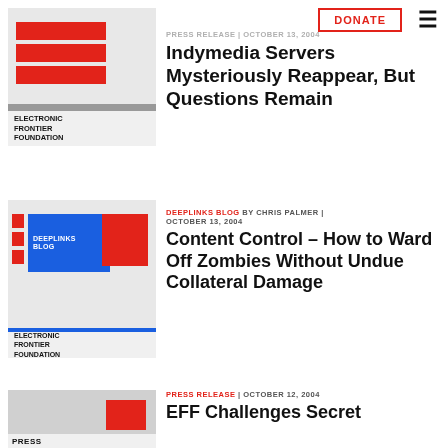DONATE (button) | hamburger menu
PRESS RELEASE | OCTOBER 13, 2004
[Figure (logo): EFF Electronic Frontier Foundation logo with red bars and gray stripe]
Indymedia Servers Mysteriously Reappear, But Questions Remain
DEEPLINKS BLOG BY CHRIS PALMER | OCTOBER 13, 2004
[Figure (logo): EFF Deeplinks Blog logo with blue box, red bars and EFF symbol]
Content Control - How to Ward Off Zombies Without Undue Collateral Damage
PRESS RELEASE | OCTOBER 12, 2004
[Figure (logo): EFF Press Release logo thumbnail]
EFF Challenges Secret